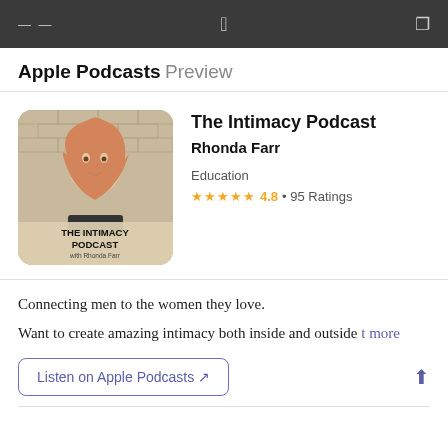Apple Podcasts Preview
[Figure (screenshot): Podcast cover art for The Intimacy Podcast with Rhonda Farr. Shows a woman with long blonde hair against a brick wall background, with text overlay 'THE INTIMACY PODCAST with Rhonda Farr'.]
The Intimacy Podcast
Rhonda Farr
Education
★★★★★ 4.8 • 95 Ratings
Connecting men to the women they love.
Want to create amazing intimacy both inside and outside  more
Listen on Apple Podcasts ↗